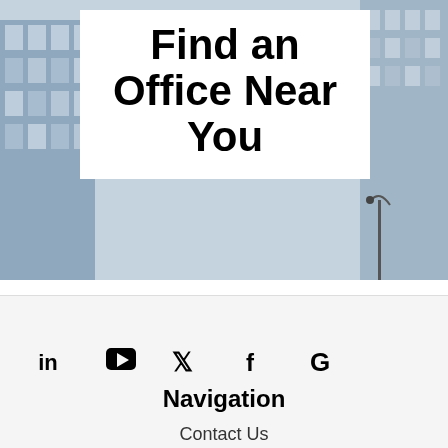[Figure (photo): Photo of a modern office building exterior with glass facade and geometric architecture, shown in grayscale]
Find an Office Near You
[Figure (infographic): Social media icons row: LinkedIn, YouTube, Twitter, Facebook, Google]
Navigation
Contact Us